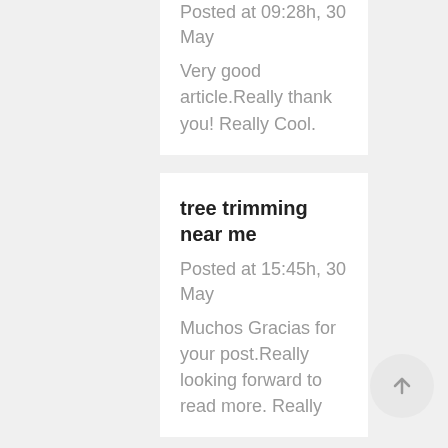Posted at 09:28h, 30 May
Very good article.Really thank you! Really Cool.
tree trimming near me
Posted at 15:45h, 30 May
Muchos Gracias for your post.Really looking forward to read more. Really Cool.